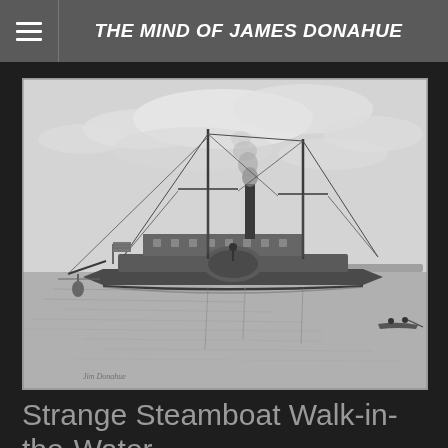THE MIND OF JAMES DONAHUE
[Figure (illustration): Black and white historical illustration of a steamboat named Walk-in-the-Water on calm water, with two masts, a smokestack emitting smoke, rigging lines, an American flag at the bow, a buoy to the left, shoreline in the background, and two people in a small canoe in the foreground right.]
Strange Steamboat Walk-in-the-Water